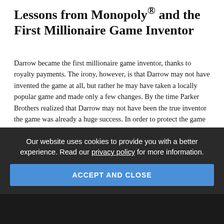Lessons from Monopoly® and the First Millionaire Game Inventor
Darrow became the first millionaire game inventor, thanks to royalty payments. The irony, however, is that Darrow may not have invented the game at all, but rather he may have taken a locally popular game and made only a few changes. By the time Parker Brothers realized that Darrow may not have been the true inventor the game was already a huge success. In order to protect the game and its investment the decision was made to buy up all patents and copyrights on any related game, thereby ensuring the monopoly on Monopoly®. Thus, the story of Monopoly® provides inspiration to inventors who at first are told no, and for companies who acquire intellectual property rights.
GENE QUINN
NOVEMBER 26, 2018
Our website uses cookies to provide you with a better experience. Read our privacy policy for more information.
ACCEPT AND CLOSE